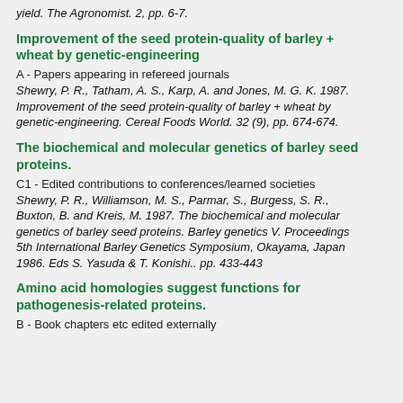yield. The Agronomist. 2, pp. 6-7.
Improvement of the seed protein-quality of barley + wheat by genetic-engineering
A - Papers appearing in refereed journals
Shewry, P. R., Tatham, A. S., Karp, A. and Jones, M. G. K. 1987. Improvement of the seed protein-quality of barley + wheat by genetic-engineering. Cereal Foods World. 32 (9), pp. 674-674.
The biochemical and molecular genetics of barley seed proteins.
C1 - Edited contributions to conferences/learned societies
Shewry, P. R., Williamson, M. S., Parmar, S., Burgess, S. R., Buxton, B. and Kreis, M. 1987. The biochemical and molecular genetics of barley seed proteins. Barley genetics V. Proceedings 5th International Barley Genetics Symposium, Okayama, Japan 1986. Eds S. Yasuda & T. Konishi.. pp. 433-443
Amino acid homologies suggest functions for pathogenesis-related proteins.
B - Book chapters etc edited externally